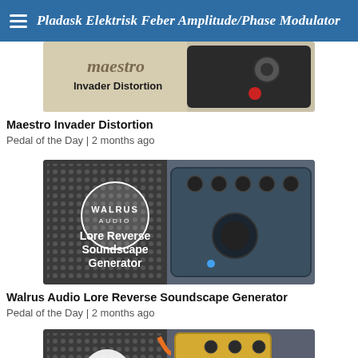Pladask Elektrisk Feber Amplitude/Phase Modulator
[Figure (photo): Photo of Maestro Invader Distortion guitar pedal on a wooden surface]
Maestro Invader Distortion
Pedal of the Day | 2 months ago
[Figure (photo): Photo of Walrus Audio Lore Reverse Soundscape Generator guitar pedal with logo overlay text]
Walrus Audio Lore Reverse Soundscape Generator
Pedal of the Day | 2 months ago
[Figure (photo): Partial photo of another guitar pedal with Summer branding visible]